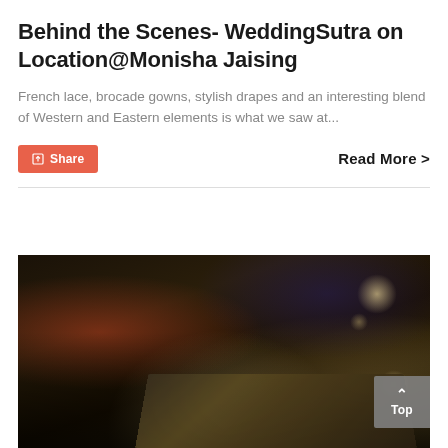Behind the Scenes- WeddingSutra on Location@Monisha Jaising
French lace, brocade gowns, stylish drapes and an interesting blend of Western and Eastern elements is what we saw at...
[Figure (photo): Blurred dark ambient photo of a dining or event venue interior at night, with warm bokeh lights and what appears to be books or brochures on a table in the foreground. A 'Top' navigation button is overlaid in the bottom-right corner.]